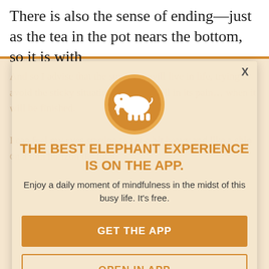There is also the sense of ending—just as the tea in the pot nears the bottom, so it is with
[Figure (illustration): App promotion modal overlay with elephant logo icon (white elephant silhouette on orange/gold circle), bold orange heading, subtitle, and two call-to-action buttons on a warm beige background with faint text watermark]
THE BEST ELEPHANT EXPERIENCE IS ON THE APP.
Enjoy a daily moment of mindfulness in the midst of this busy life. It's free.
GET THE APP
OPEN IN APP